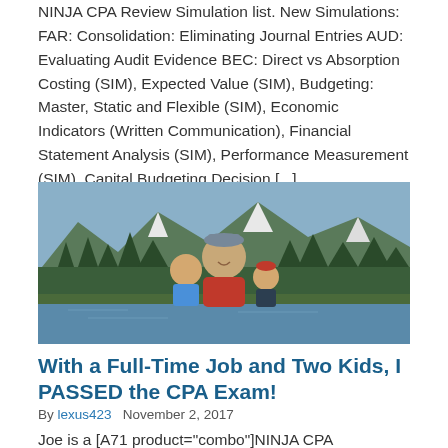NINJA CPA Review Simulation list. New Simulations: FAR: Consolidation: Eliminating Journal Entries AUD: Evaluating Audit Evidence BEC: Direct vs Absorption Costing (SIM), Expected Value (SIM), Budgeting: Master, Static and Flexible (SIM), Economic Indicators (Written Communication), Financial Statement Analysis (SIM), Performance Measurement (SIM), Capital Budgeting Decision [...]
[Figure (photo): A man smiling with two young children in front of a mountain lake and forest landscape.]
With a Full-Time Job and Two Kids, I PASSED the CPA Exam!
By lexus423  November 2, 2017
Joe is a [A71 product="combo"]NINJA CPA blogger[/A71]. Hello Ninjas, This will be my last blog entry as a NINJA CPA. I found out at the last score